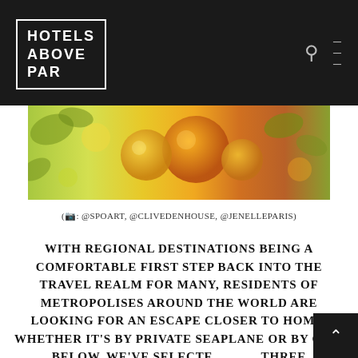HOTELS ABOVE PAR
[Figure (photo): Close-up photo of citrus fruits — oranges and yellow lemons or flowers — warm orange and yellow tones]
(📷: @SPOART, @CLIVEDENHOUSE, @JENELLEPARIS)
With regional destinations being a comfortable first step back into the travel realm for many, residents of metropolises around the world are looking for an escape closer to home. Whether it's by private seaplane or by car, below, we've selected three fantastic hotels within proximity to three major cities — Vancouver, London, and